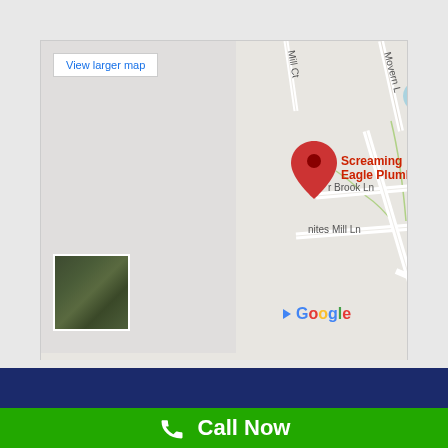[Figure (map): Google Maps screenshot showing the location of Screaming Eagle Plumbing, with a red location pin. Street names visible include Movern Ln, Millpond Ct, Mill Ct, Cedar Brook Ln, Smites Mill Ln, Academy Hill Extension, Bald Eagle Dr, Blue Heron. A water body (pond) is visible in upper right. Bottom left shows a satellite view thumbnail. Map footer shows 'Keyboard shortcuts', 'Map data ©2022', 'Terms of Use'. A 'View larger map' button is in the upper left.]
Call Now